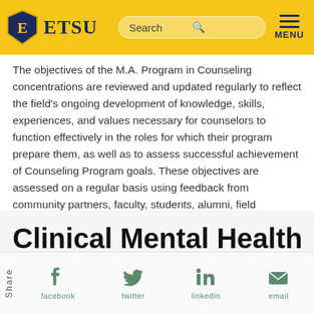ETSU
The objectives of the M.A. Program in Counseling concentrations are reviewed and updated regularly to reflect the field's ongoing development of knowledge, skills, experiences, and values necessary for counselors to function effectively in the roles for which their program prepare them, as well as to assess successful achievement of Counseling Program goals. These objectives are assessed on a regular basis using feedback from community partners, faculty, students, alumni, field supervisors, and employers of graduates.
Clinical Mental Health
Share  facebook  twitter  linkedin  email